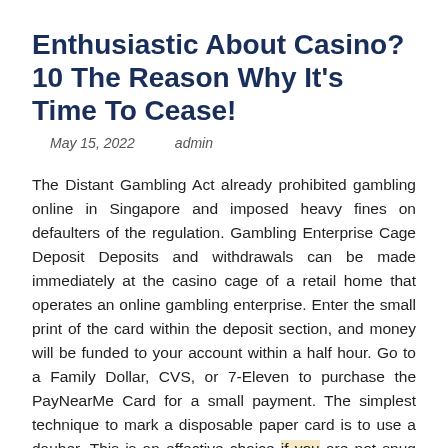Enthusiastic About Casino? 10 The Reason Why It’s Time To Cease!
May 15, 2022    admin
The Distant Gambling Act already prohibited gambling online in Singapore and imposed heavy fines on defaulters of the regulation. Gambling Enterprise Cage Deposit Deposits and withdrawals can be made immediately at the casino cage of a retail home that operates an online gambling enterprise. Enter the small print of the card within the deposit section, and money will be funded to your account within a half hour. Go to a Family Dollar, CVS, or 7-Eleven to purchase the PayNearMe Card for a small payment. The simplest technique to mark a disposable paper card is to use a dauber. This is an effective choice if you are not snug using a card and don’t need to incur any